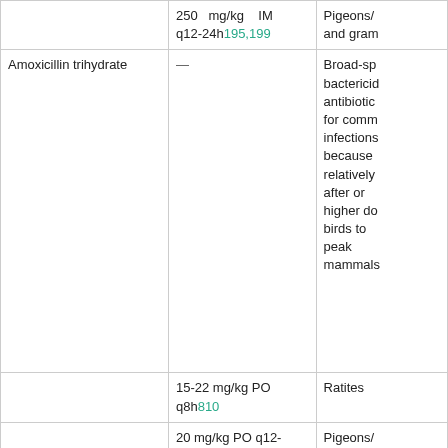| Drug | Dosage | Notes |
| --- | --- | --- |
|  | 250 mg/kg IM q12-24h195,199 | Pigeons/[...] and gram[...] |
| Amoxicillin trihydrate | — | Broad-sp[...] bactericid[...] antibiotic[...] for comm[...] infections[...] because [...] relatively[...] after or[...] higher do[...] birds to [...] peak mammals[...] |
|  | 15-22 mg/kg PO q8h810 | Ratites |
|  | 20 mg/kg PO q12-24h197 | Pigeons/[...] 66 min |
|  | 30 mg/kg IM q12h × 5 days102 | Pigeons |